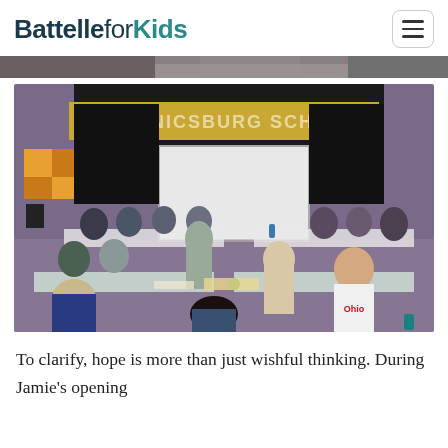Battelle for Kids
[Figure (photo): Partial view of people working at tables, cropped at top of page]
[Figure (photo): Group of educators/participants working at tables in a school gymnasium or multipurpose room with 'Mechanicsburg Schools' signage on the stage wall and a projection screen. People are seated and standing around tables engaged in collaborative activity.]
To clarify, hope is more than just wishful thinking. During Jamie's opening